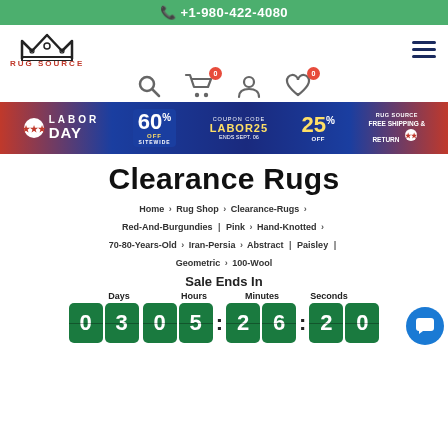+1-980-422-4080
[Figure (logo): Rug Source logo with crown and red text]
[Figure (infographic): Labor Day sale banner: 60% OFF sitewide, coupon code LABOR25, 25% off, free shipping & return]
Clearance Rugs
Home > Rug Shop > Clearance-Rugs > Red-And-Burgundies | Pink > Hand-Knotted > 70-80-Years-Old > Iran-Persia > Abstract | Paisley | Geometric > 100-Wool
Sale Ends In
Days 03 Hours 05 Minutes 26 Seconds 20